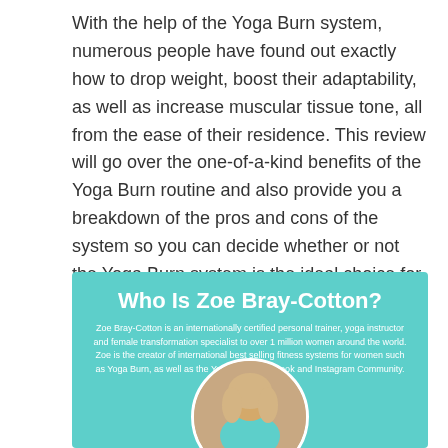With the help of the Yoga Burn system, numerous people have found out exactly how to drop weight, boost their adaptability, as well as increase muscular tissue tone, all from the ease of their residence. This review will go over the one-of-a-kind benefits of the Yoga Burn routine and also provide you a breakdown of the pros and cons of the system so you can decide whether or not the Yoga Burn system is the ideal choice for you.
Who Is Zoe Bray-Cotton?
Zoe Bray-Cotton is an internationally certified personal trainer, yoga instructor and female transformation specialist to over 1 million women around the world. Zoe is the creator of international best selling fitness systems for women such as Yoga Burn, as well as the Yoga Burn Facebook and Instagram Community.
[Figure (photo): Circular portrait photo of a blonde woman (Zoe Bray-Cotton) with a teal top, placed inside the teal information box.]